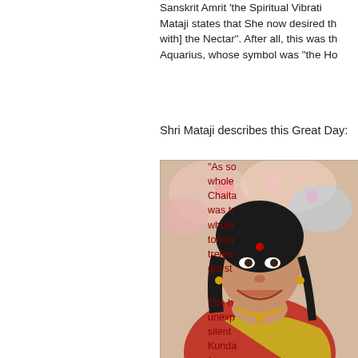Sanskrit Amrit 'the Spiritual Vibration'. Mataji states that She now desired th[e union with] the Nectar". After all, this was th[e Age of] Aquarius, whose symbol was "the Ho[lder of..."
Shri Mataji describes this Great Day:
[Figure (photo): Photo of Shri Mataji Nirmala Devi, a smiling Indian woman wearing a red and gold sari with jewelry, red bindi on forehead, against a colorful floral background.]
Shri Mataji Nirmala Devi (1923-2011) was Christian by birth, Hindu by marriage, and Paraclete by duty. The Paraclete Shri Mataji at the dawn (May 5, 1970) that commences the Resurrection and fulfills the Spirit's 2000-year-old promise for co...
"As so whole Chaita was tr whole torren treme got st
The h unexp silent Kunda furnac appea and it Kunda tunne for co